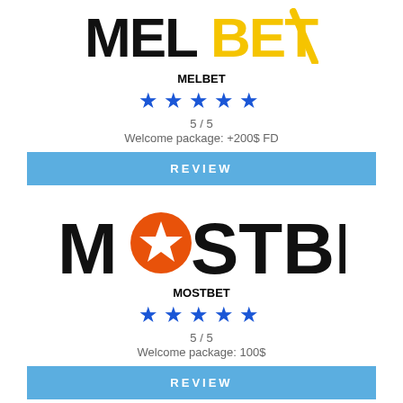[Figure (logo): MELBET logo with black bold text MEL and yellow bold text BET with a yellow slash]
MELBET
★★★★★
5 / 5
Welcome package: +200$ FD
REVIEW
[Figure (logo): MOSTBET logo with large black bold text and an orange circle with white star replacing the O]
MOSTBET
★★★★★
5 / 5
Welcome package: 100$
REVIEW